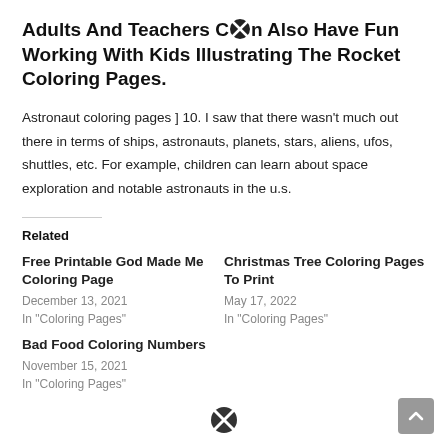Adults And Teachers Can Also Have Fun Working With Kids Illustrating The Rocket Coloring Pages.
Astronaut coloring pages ] 10. I saw that there wasn't much out there in terms of ships, astronauts, planets, stars, aliens, ufos, shuttles, etc. For example, children can learn about space exploration and notable astronauts in the u.s.
Related
Free Printable God Made Me Coloring Page
December 13, 2021
In "Coloring Pages"
Christmas Tree Coloring Pages To Print
May 17, 2022
In "Coloring Pages"
Bad Food Coloring Numbers
November 15, 2021
In "Coloring Pages"